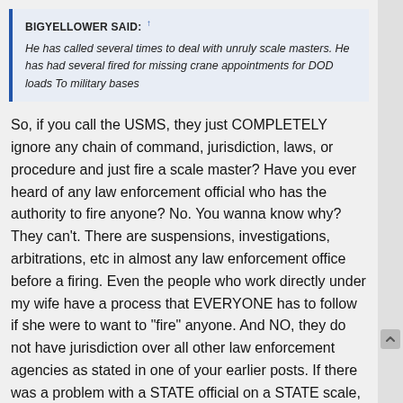BIGYELLOWER SAID: †
He has called several times to deal with unruly scale masters. He has had several fired for missing crane appointments for DOD loads To military bases
So, if you call the USMS, they just COMPLETELY ignore any chain of command, jurisdiction, laws, or procedure and just fire a scale master? Have you ever heard of any law enforcement official who has the authority to fire anyone? No. You wanna know why? They can't. There are suspensions, investigations, arbitrations, etc in almost any law enforcement office before a firing. Even the people who work directly under my wife have a process that EVERYONE has to follow if she were to want to "fire" anyone. And NO, they do not have jurisdiction over all other law enforcement agencies as stated in one of your earlier posts. If there was a problem with a STATE official on a STATE scale, the STATE would be the ones to handle it.